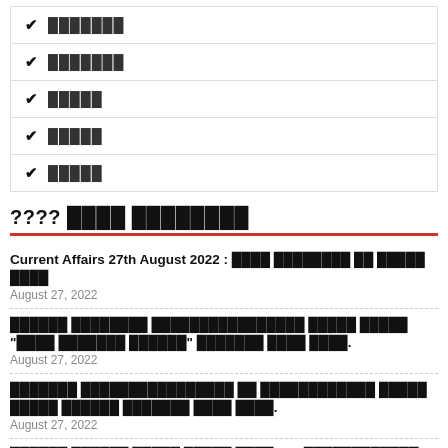✔ ███████
✔ ███████
✔ █████
✔ █████
✔ █████
???? ████ ████████
Current Affairs 27th August 2022 : ████ ████████ ██ █████ ████
August 27, 2022
██████ ████████ ████████████████ █████ █████ "████ ███████ ██████" ███████ ████ ████.
August 27, 2022
███████ ████████████████ ██ ████████████ █████ █████ ██████ ███████ ████ ████.
August 27, 2022
██████ ██████ █████ █████ ████ 116 ████████████ ████ ██████ ████.
August 27, 2022